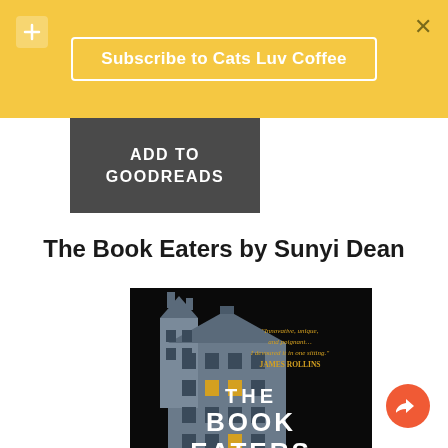Subscribe to Cats Luv Coffee
ADD TO GOODREADS
The Book Eaters by Sunyi Dean
[Figure (photo): Book cover of 'The Book Eaters' by Sunyi Dean showing a dark gothic house against a black background with large white text THE BOOK EATERS and a gold quote from James Rollins: 'Innovative, unique, and poignant... I devoured it in one sitting.']